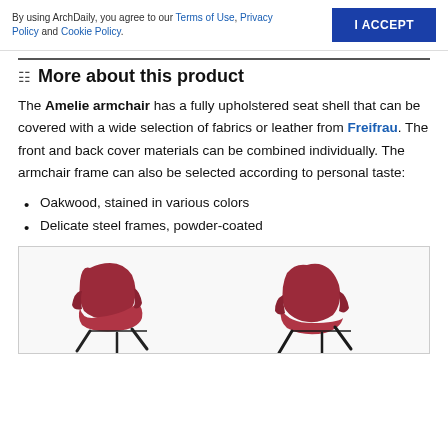By using ArchDaily, you agree to our Terms of Use, Privacy Policy and Cookie Policy. | I ACCEPT
More about this product
The Amelie armchair has a fully upholstered seat shell that can be covered with a wide selection of fabrics or leather from Freifrau. The front and back cover materials can be combined individually. The armchair frame can also be selected according to personal taste:
Oakwood, stained in various colors
Delicate steel frames, powder-coated
[Figure (photo): Two Amelie armchairs upholstered in red/burgundy fabric with dark metal legs, shown from different angles]